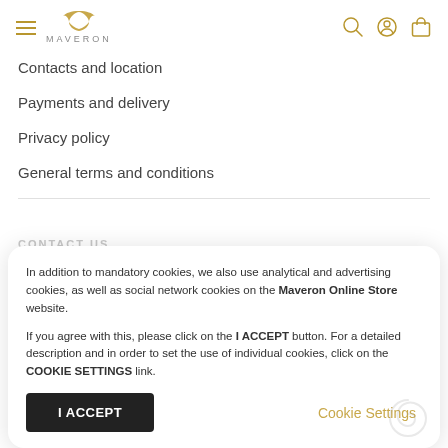MAVERON
Contacts and location
Payments and delivery
Privacy policy
General terms and conditions
In addition to mandatory cookies, we also use analytical and advertising cookies, as well as social network cookies on the Maveron Online Store website.

If you agree with this, please click on the I ACCEPT button. For a detailed description and in order to set the use of individual cookies, click on the COOKIE SETTINGS link.